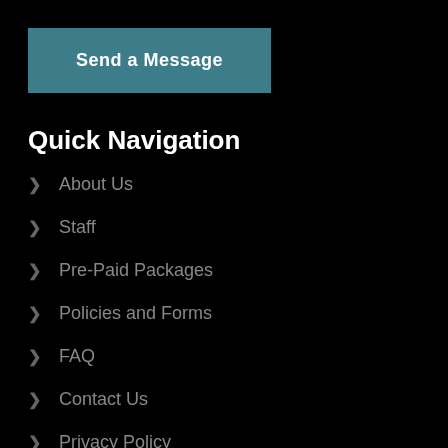Send a Message
Quick Navigation
About Us
Staff
Pre-Paid Packages
Policies and Forms
FAQ
Contact Us
Privacy Policy
Our Services